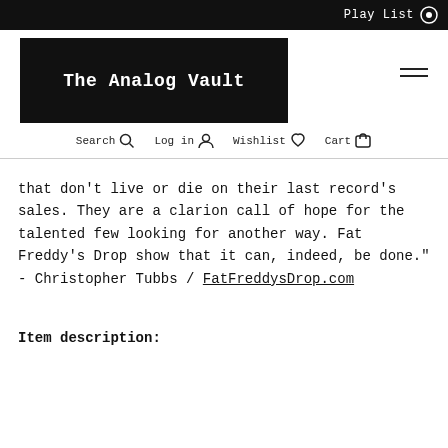Play List
The Analog Vault
Search  Log in  Wishlist  Cart
that don't live or die on their last record's sales. They are a clarion call of hope for the talented few looking for another way. Fat Freddy's Drop show that it can, indeed, be done." - Christopher Tubbs / FatFreddysDrop.com
Item description:
| Artist: |  |
| --- | --- |
| Artist: | Fat Freddy's Drop |